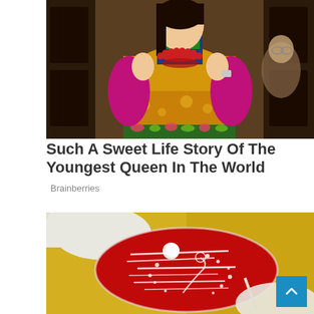[Figure (photo): Woman wearing traditional golden Bhutanese ceremonial dress with colorful collar, red bead necklace, magenta sleeves, holding lapels open. Crowd visible in background.]
Such A Sweet Life Story Of The Youngest Queen In The World
Brainberries
[Figure (photo): Gloved hands holding a red blood agar petri dish with bacterial cultures visible as white streaks and colonies on the deep red medium. Yellow blurred background.]